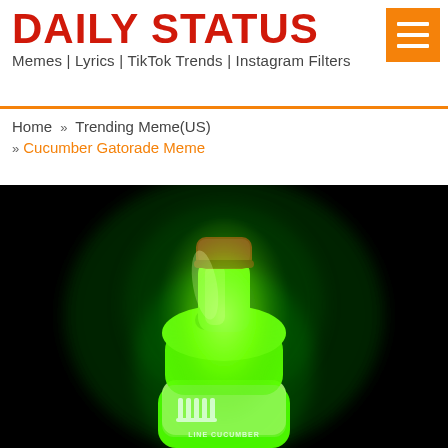DAILY STATUS — Memes | Lyrics | TikTok Trends | Instagram Filters
Home » Trending Meme(US) » Cucumber Gatorade Meme
[Figure (photo): A glowing neon-green Gatorade bottle (Lime Cucumber flavor) photographed against a black background. The bottle glows intensely green with a brown/orange cap. The Gatorade logo and 'LINE CUCUMBER' text are visible on the label.]